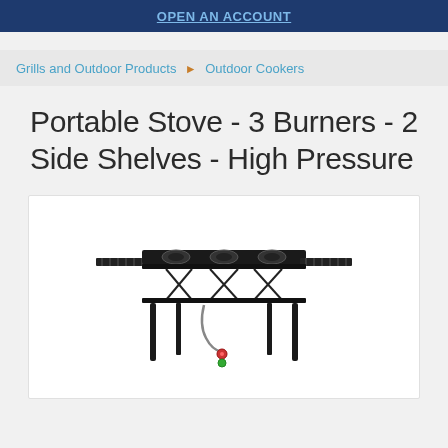OPEN AN ACCOUNT
Grills and Outdoor Products ▶ Outdoor Cookers
Portable Stove - 3 Burners - 2 Side Shelves - High Pressure
[Figure (photo): A black portable 3-burner outdoor stove with two side shelves, four legs, and a gas hose connector hanging below the center.]